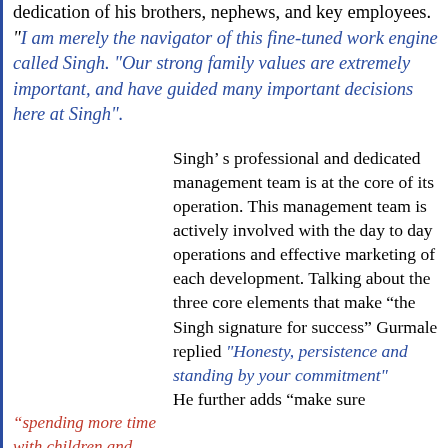dedication of his brothers, nephews, and key employees. "I am merely the navigator of this fine-tuned work engine called Singh. "Our strong family values are extremely important, and have guided many important decisions here at Singh".
Singh’ s professional and dedicated management team is at the core of its operation. This management team is actively involved with the day to day operations and effective marketing of each development. Talking about the three core elements that make “the Singh signature for success” Gurmale replied "Honesty, persistence and standing by your commitment" He further adds "make sure
“spending more time with children and family makes you a better